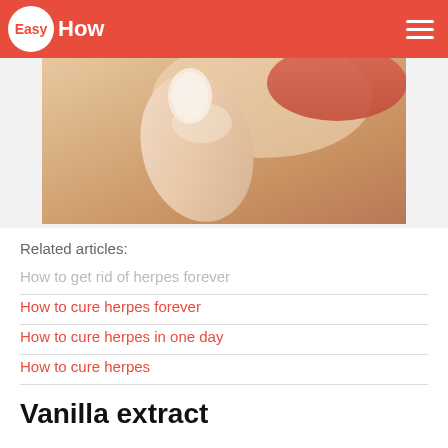EasyHow
[Figure (photo): Close-up photo of a hand with fingers touching lips/mouth area, skin tones of peach and tan]
Related articles:
How to get rid of herpes forever
How to cure herpes forever
How to cure herpes in one day
How to cure herpes
Vanilla extract